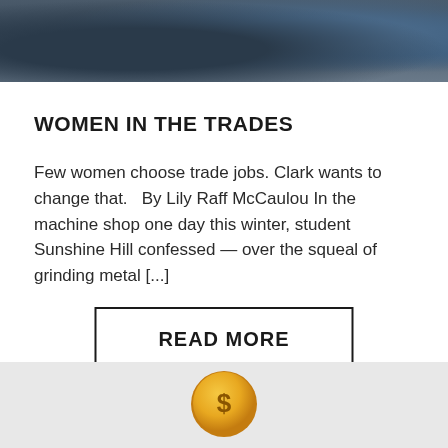[Figure (photo): Top portion of a photo showing a person in a machine shop or industrial setting, wearing dark clothing]
WOMEN IN THE TRADES
Few women choose trade jobs. Clark wants to change that.   By Lily Raff McCaulou In the machine shop one day this winter, student Sunshine Hill confessed — over the squeal of grinding metal [...]
[Figure (other): READ MORE button with black border]
[Figure (illustration): Gold/orange coin with dollar sign icon on a light gray background panel at the bottom of the page]